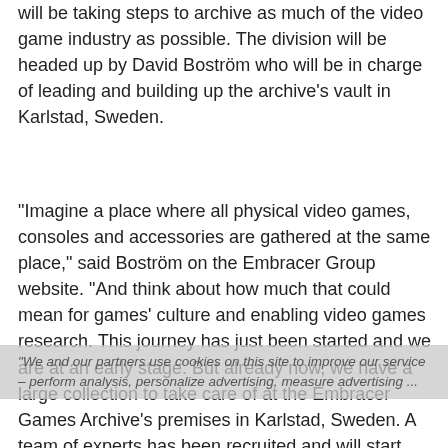will be taking steps to archive as much of the video game industry as possible. The division will be headed up by David Boström who will be in charge of leading and building up the archive's vault in Karlstad, Sweden.
"Imagine a place where all physical video games, consoles and accessories are gathered at the same place," said Boström on the Embracer Group website. "And think about how much that could mean for games' culture and enabling video games research. This journey has just been started and we are at an early stage. But already now, we have a large collection to take care of at the Embracer Games Archive's premises in Karlstad, Sweden. A team of experts has been recruited and will start building the foundation for the archive. At Embracer Games Archive, we believe that games carry a heritage worth celebrating and safeguarding for the future. Our goal is clear – We want to archive and save as much of the video games industry as possible."
"We and our partners use cookies on this site to improve our service – perform analysis, personalize advertising, measure advertising ...